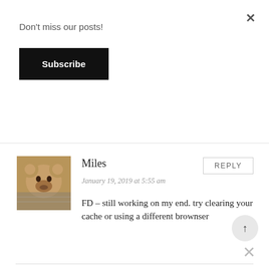Don't miss our posts!
Subscribe
Miles
REPLY
January 19, 2019 at 5:55 am
FD – still working on my end. try clearing your cache or using a different brownser
LEAVE A REPLY
COMMENTS *